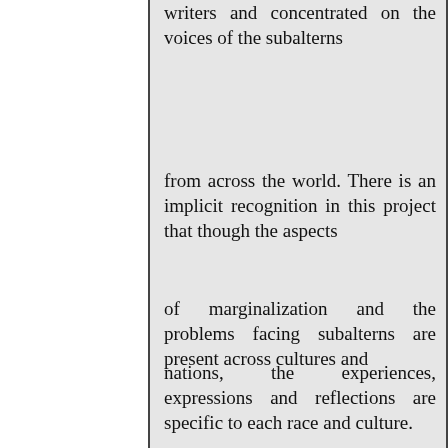writers and concentrated on the voices of the subalterns
from across the world. There is an implicit recognition in this project that though the aspects
of marginalization and the problems facing subalterns are present across cultures and
nations, the experiences, expressions and reflections are specific to each race and culture.